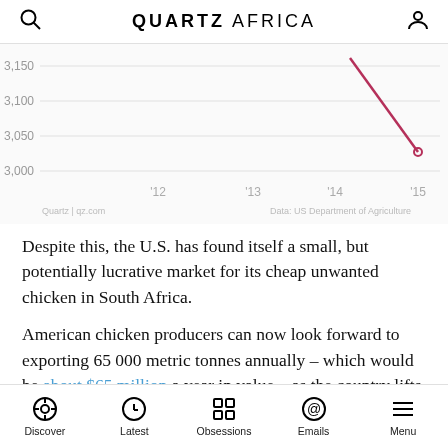QUARTZ AFRICA
[Figure (continuous-plot): Partial line chart showing a declining trend (a line in dark pink/rose color) with y-axis values from 3,000 to 3,150 and x-axis labels '12, '13, '14, '15. Attribution: Quartz | qz.com and Data: US Department of Agriculture.]
Despite this, the U.S. has found itself a small, but potentially lucrative market for its cheap unwanted chicken in South Africa.
American chicken producers can now look forward to exporting 65 000 metric tonnes annually – which would be about $65 million a year in value – as the country lifts its 15-year anti-dumping duties on U.S-bred chicken in order to secure their much needed participation in
Discover  Latest  Obsessions  Emails  Menu